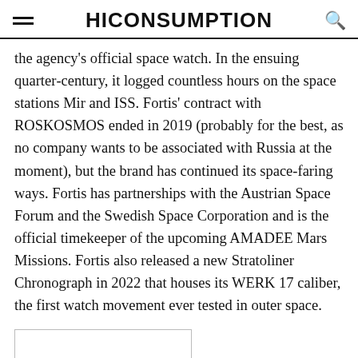HICONSUMPTION
the agency's official space watch. In the ensuing quarter-century, it logged countless hours on the space stations Mir and ISS. Fortis' contract with ROSKOSMOS ended in 2019 (probably for the best, as no company wants to be associated with Russia at the moment), but the brand has continued its space-faring ways. Fortis has partnerships with the Austrian Space Forum and the Swedish Space Corporation and is the official timekeeper of the upcoming AMADEE Mars Missions. Fortis also released a new Stratoliner Chronograph in 2022 that houses its WERK 17 caliber, the first watch movement ever tested in outer space.
[Figure (photo): Partial image at bottom of page, appears to be the beginning of a photo or advertisement]